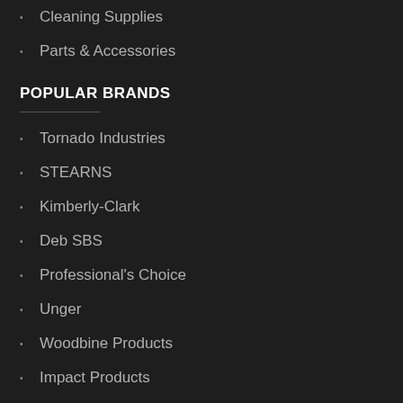Cleaning Supplies
Parts & Accessories
POPULAR BRANDS
Tornado Industries
STEARNS
Kimberly-Clark
Deb SBS
Professional's Choice
Unger
Woodbine Products
Impact Products
IPC EAGLE
Certified Safety Mfg.
QUICK LINKS